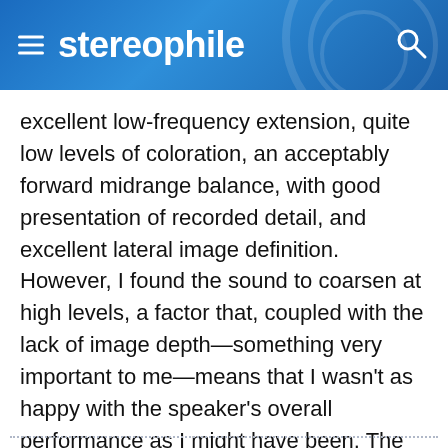stereophile
excellent low-frequency extension, quite low levels of coloration, an acceptably forward midrange balance, with good presentation of recorded detail, and excellent lateral image definition. However, I found the sound to coarsen at high levels, a factor that, coupled with the lack of image depth—something very important to me—means that I wasn't as happy with the speaker's overall performance as I might have been. The DCM TF1000 will produce a sound in line with many people's tastes; it just didn't do enough of what I consider important.